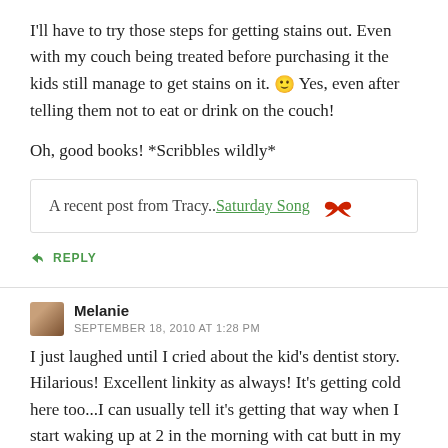I'll have to try those steps for getting stains out. Even with my couch being treated before purchasing it the kids still manage to get stains on it. 🙂 Yes, even after telling them not to eat or drink on the couch!
Oh, good books! *Scribbles wildly*
A recent post from Tracy..Saturday Song 🦅
↳ REPLY
Melanie
SEPTEMBER 18, 2010 AT 1:28 PM
I just laughed until I cried about the kid's dentist story. Hilarious! Excellent linkity as always! It's getting cold here too...I can usually tell it's getting that way when I start waking up at 2 in the morning with cat butt in my face. If